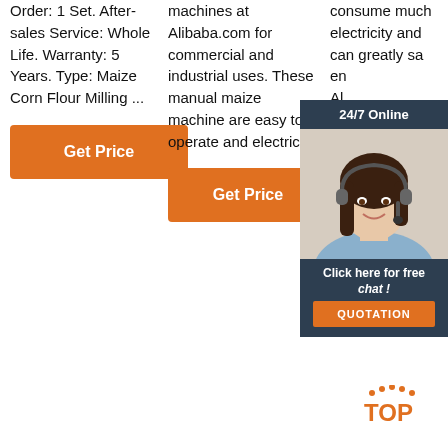Order: 1 Set. After-sales Service: Whole Life. Warranty: 5 Years. Type: Maize Corn Flour Milling ...
machines at Alibaba.com for commercial and industrial uses. These manual maize machine are easy to operate and electric.
consume much electricity and can greatly sa... en... Al... yo... fro... co... un... m... machine ranges to save your pockets. These machines ...
[Figure (photo): 24/7 Online chat overlay with woman wearing headset and a 'Click here for free chat!' and QUOTATION button]
Get Price
Get Price